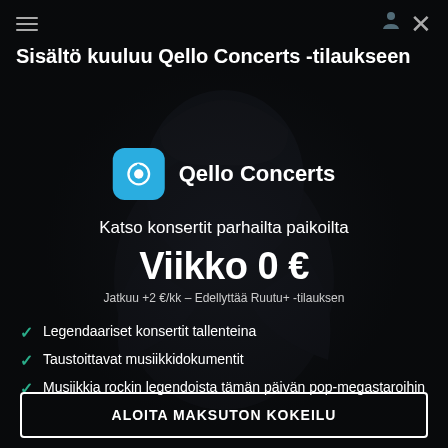[Figure (screenshot): Dark background with shadowy figure of a person in a hoodie]
Sisältö kuuluu Qello Concerts -tilaukseen
[Figure (logo): Qello Concerts app icon — cyan rounded square with play button Q logo]
Qello Concerts
Katso konsertit parhailta paikoilta
Viikko 0 €
Jatkuu +2 €/kk – Edellyttää Ruutu+ -tilauksen
Legendaariset konsertit tallenteina
Taustoittavat musiikkidokumentit
Musiikkia rockin legendoista tämän päivän pop-megastaroihin
ALOITA MAKSUTON KOKEILU